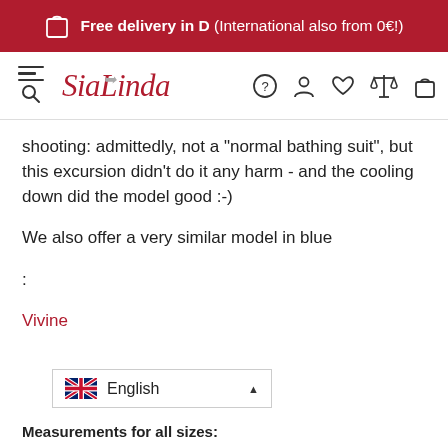Free delivery in D (International also from 0€!)
[Figure (screenshot): SiaLinda website navigation bar with logo, menu icon, search, help, account, wishlist, compare, and cart icons]
shooting: admittedly, not a "normal bathing suit", but this excursion didn't do it any harm - and the cooling down did the model good :-)
We also offer a very similar model in blue
:
Vivine
[Figure (screenshot): Language selector dropdown showing English with UK flag]
Measurements for all sizes: